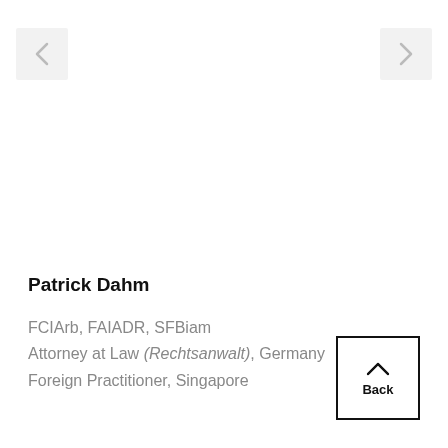[Figure (other): Left navigation arrow button (previous)]
[Figure (other): Right navigation arrow button (next)]
Patrick Dahm
FCIArb, FAIADR, SFBiam
Attorney at Law (Rechtsanwalt), Germany
Foreign Practitioner, Singapore
[Figure (other): Back button with upward chevrons]